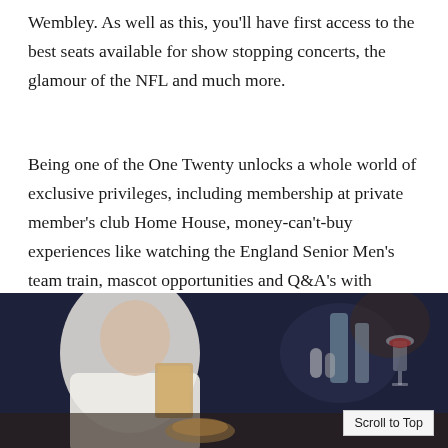Wembley. As well as this, you'll have first access to the best seats available for show stopping concerts, the glamour of the NFL and much more.
Being one of the One Twenty unlocks a whole world of exclusive privileges, including membership at private member's club Home House, money-can't-buy experiences like watching the England Senior Men's team train, mascot opportunities and Q&A's with footballing legends. There's also easy access in and out of the ground, with reserved valet parking and a complimentary member's train service.
[Figure (photo): A dining scene photo showing a person in white clothing holding a menu/card, with glassware and table settings in the background, dark blue ambiance.]